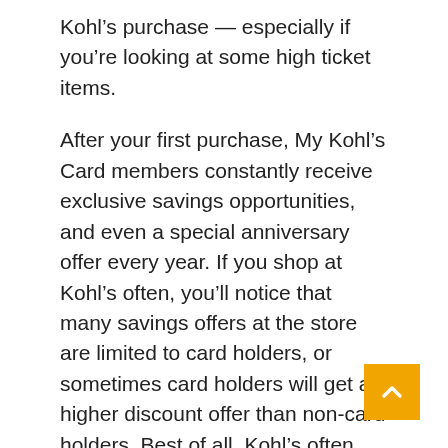Kohl's purchase — especially if you're looking at some high ticket items.
After your first purchase, My Kohl's Card members constantly receive exclusive savings opportunities, and even a special anniversary offer every year. If you shop at Kohl's often, you'll notice that many savings offers at the store are limited to card holders, or sometimes card holders will get a higher discount offer than non-card holders. Best of all, Kohl's often allows you to stack discount and coupon codes together, including offers that are just for card holders.
With the My Kohl's Card, you'll also earn 1 point for every dollar you spend on the card, and once you reach 100 points, you'll earn a $5 reward. This reward can be used toward any Kohl's purchase, either in-store